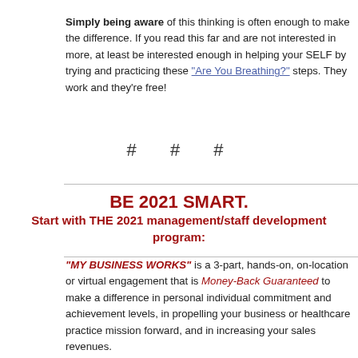Simply being aware of this thinking is often enough to make the difference. If you read this far and are not interested in more, at least be interested enough in helping your SELF by trying and practicing these "Are You Breathing?" steps. They work and they're free!
# # #
BE 2021 SMART.
Start with THE 2021 management/staff development program:
"MY BUSINESS WORKS" is a 3-part, hands-on, on-location or virtual engagement that is Money-Back Guaranteed to make a difference in personal individual commitment and achievement levels, in propelling your business or healthcare practice mission forward, and in increasing your sales revenues.